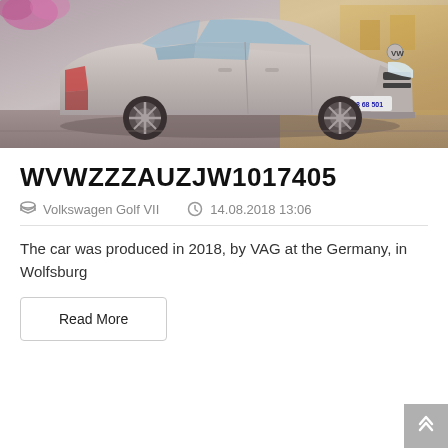[Figure (photo): Silver Volkswagen Golf VII photographed from the side-front angle, with license plate 08 68 501, parked on a street with blurred background showing flowers and warm lighting.]
WVWZZZAUZJW1017405
Volkswagen Golf VII   14.08.2018 13:06
The car was produced in 2018, by VAG at the Germany, in Wolfsburg
Read More